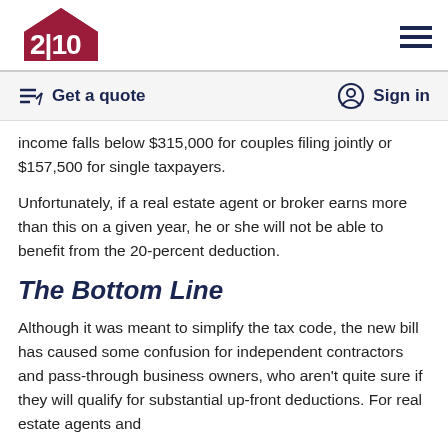2|10 logo and navigation
Get a quote | Sign in
income falls below $315,000 for couples filing jointly or $157,500 for single taxpayers.
Unfortunately, if a real estate agent or broker earns more than this on a given year, he or she will not be able to benefit from the 20-percent deduction.
The Bottom Line
Although it was meant to simplify the tax code, the new bill has caused some confusion for independent contractors and pass-through business owners, who aren't quite sure if they will qualify for substantial up-front deductions. For real estate agents and